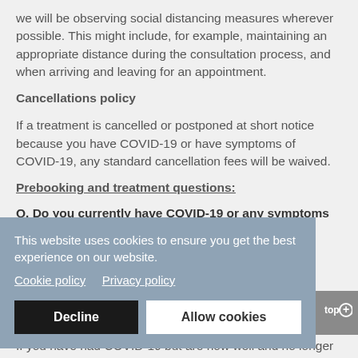we will be observing social distancing measures wherever possible. This might include, for example, maintaining an appropriate distance during the consultation process, and when arriving and leaving for an appointment.
Cancellations policy
If a treatment is cancelled or postponed at short notice because you have COVID-19 or have symptoms of COVID-19, any standard cancellation fees will be waived.
Prebooking and treatment questions:
Q. Do you currently have COVID-19 or any symptoms of COVID-19?
[Figure (other): Cookie consent banner with text: This website uses cookies to ensure you get the best experience on our website. Cookie policy | Privacy policy. Buttons: Decline and Allow cookies.]
If you have had COVID-19 but are now well and no longer